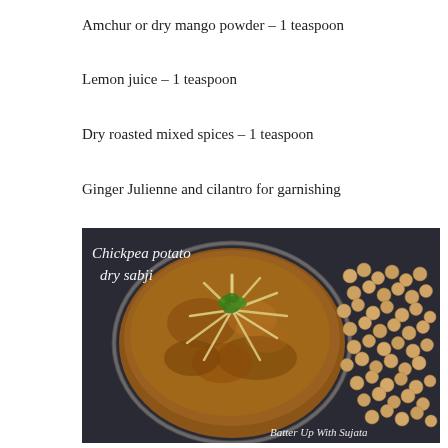Amchur or dry mango powder – 1 teaspoon
Lemon juice – 1 teaspoon
Dry roasted mixed spices – 1 teaspoon
Ginger Julienne and cilantro for garnishing
[Figure (photo): Overhead view of chickpea potato dry sabji served in a round glass bowl, garnished with ginger julienne and cilantro, with raw chickpeas scattered to the right. Caption on image reads 'Chickpea potato dry sabji' and watermark 'Batter Up With Sujata'.]